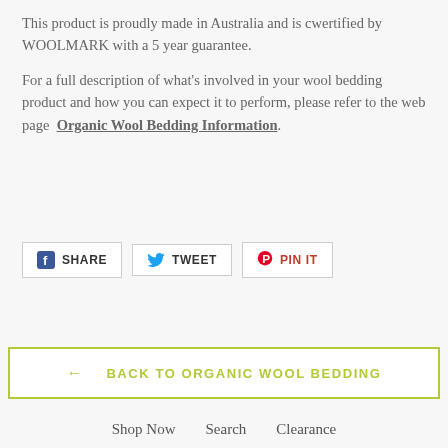This product is proudly made in Australia and is cwertified by WOOLMARK with a 5 year guarantee.
For a full description of what's involved in your wool bedding product and how you can expect it to perform, please refer to the web page  Organic Wool Bedding Information.
[Figure (other): Social sharing buttons: Facebook SHARE, Twitter TWEET, Pinterest PIN IT]
← BACK TO ORGANIC WOOL BEDDING
Shop Now   Search   Clearance